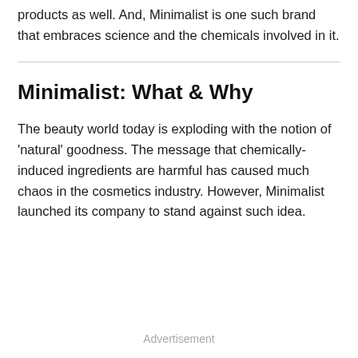products as well. And, Minimalist is one such brand that embraces science and the chemicals involved in it.
Minimalist: What & Why
The beauty world today is exploding with the notion of 'natural' goodness. The message that chemically-induced ingredients are harmful has caused much chaos in the cosmetics industry. However, Minimalist launched its company to stand against such idea.
Advertisement